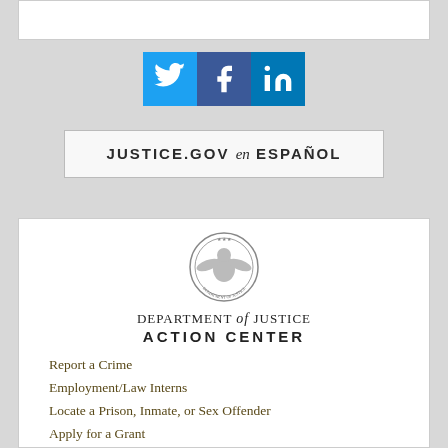[Figure (illustration): White rectangular box at top of page]
[Figure (illustration): Social media icons: Twitter (blue bird), Facebook (blue f), LinkedIn (blue in)]
JUSTICE.GOV en ESPAÑOL
[Figure (logo): Department of Justice circular seal/emblem in grayscale]
DEPARTMENT of JUSTICE ACTION CENTER
Report a Crime
Employment/Law Interns
Locate a Prison, Inmate, or Sex Offender
Apply for a Grant
Submit a Complaint
Report Waste, Fraud, Abuse or Misconduct to the Inspector General
Find Sales of Seized Property